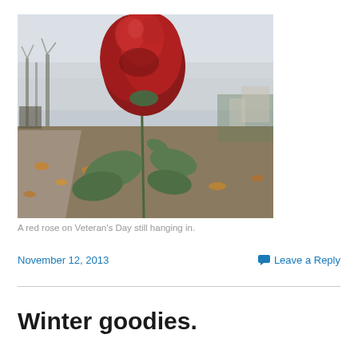[Figure (photo): A red rose in bloom on a garden path on a grey overcast autumn day, with fallen leaves on the ground and bare trees in the background.]
A red rose on Veteran's Day still hanging in.
November 12, 2013
Leave a Reply
Winter goodies.